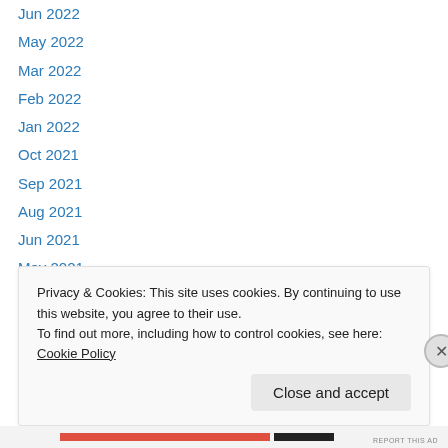Jun 2022
May 2022
Mar 2022
Feb 2022
Jan 2022
Oct 2021
Sep 2021
Aug 2021
Jun 2021
May 2021
Mar 2021
Feb 2021
Dec 2020
Privacy & Cookies: This site uses cookies. By continuing to use this website, you agree to their use. To find out more, including how to control cookies, see here: Cookie Policy
Close and accept